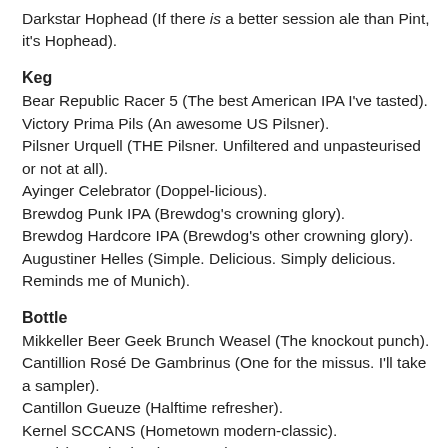Darkstar Hophead (If there is a better session ale than Pint, it's Hophead).
Keg
Bear Republic Racer 5 (The best American IPA I've tasted).
Victory Prima Pils (An awesome US Pilsner).
Pilsner Urquell (THE Pilsner. Unfiltered and unpasteurised or not at all).
Ayinger Celebrator (Doppel-licious).
Brewdog Punk IPA (Brewdog's crowning glory).
Brewdog Hardcore IPA (Brewdog's other crowning glory).
Augustiner Helles (Simple. Delicious. Simply delicious. Reminds me of Munich).
Bottle
Mikkeller Beer Geek Brunch Weasel (The knockout punch).
Cantillion Rosé De Gambrinus (One for the missus. I'll take a sampler).
Cantillon Gueuze (Halftime refresher).
Kernel SCCANS (Hometown modern-classic).
Orval (Everybody's best mate).
Fuller's Vintage Ale (Different every time you drink it, but